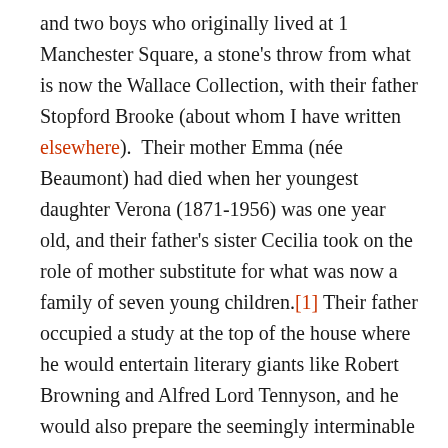and two boys who originally lived at 1 Manchester Square, a stone's throw from what is now the Wallace Collection, with their father Stopford Brooke (about whom I have written elsewhere).  Their mother Emma (née Beaumont) had died when her youngest daughter Verona (1871-1956) was one year old, and their father's sister Cecilia took on the role of mother substitute for what was now a family of seven young children.[1] Their father occupied a study at the top of the house where he would entertain literary giants like Robert Browning and Alfred Lord Tennyson, and he would also prepare the seemingly interminable sermons with which he would assail the conscience of late Victorian London. One of Honor's sisters, Maud Rolleston (1863-1946), later wrote[2]: